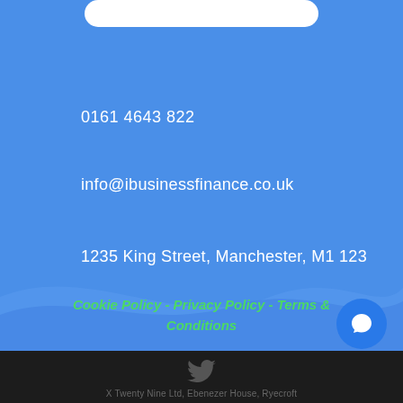0161 4643 822
info@ibusinessfinance.co.uk
1235 King Street, Manchester, M1 123
Cookie Policy - Privacy Policy - Terms & Conditions
[Figure (illustration): Twitter bird icon in dark grey on black background]
[Figure (illustration): Blue circular chat bubble button with white speech bubble icon]
X Twenty Nine Ltd, Ebenezer House, Ryecroft